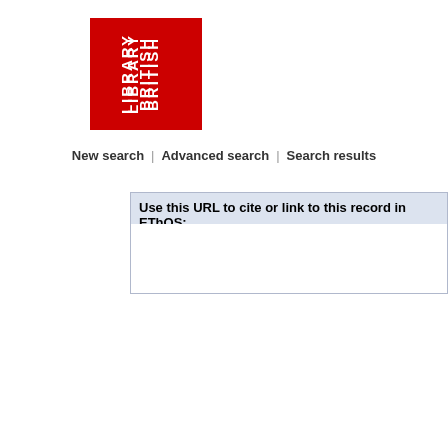[Figure (logo): British Library logo — red rectangle with white rotated text reading BRITISH LIBRARY]
New search | Advanced search | Search results
Use this URL to cite or link to this record in EThOS:
| Field | Value |
| --- | --- |
| Title: | Detection, analysis, a… |
| Author: | Bellu, Edmund |
| Awarding Body: | Robert Gordon University |
| Current Institution: | Robert Gordon University |
| Date of Award: | 2007 |